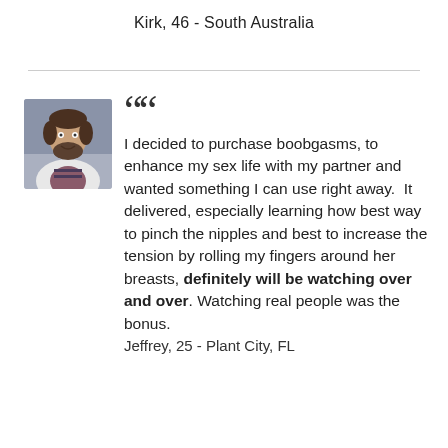Kirk, 46 - South Australia
[Figure (photo): Headshot photo of a young man with a beard, wearing a white jacket over a striped shirt, smiling.]
I decided to purchase boobgasms, to enhance my sex life with my partner and wanted something I can use right away.  It delivered, especially learning how best way to pinch the nipples and best to increase the tension by rolling my fingers around her breasts, definitely will be watching over and over. Watching real people was the bonus.
Jeffrey, 25 - Plant City, FL